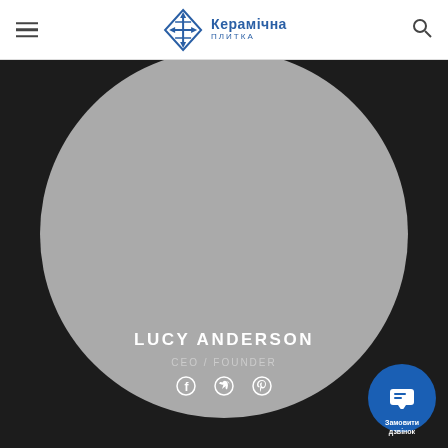[Figure (logo): Керамічна плитка company logo with diamond/arrow geometric symbol in dark blue and company name in Cyrillic]
[Figure (photo): Circular profile photo placeholder (grey circle) of Lucy Anderson on dark background]
LUCY ANDERSON
CEO / FOUNDER
[Figure (infographic): Social media icons: Facebook, Twitter, Pinterest in white]
[Figure (infographic): Blue circular CTA button with chat icon and text 'Замовити дзвінок']